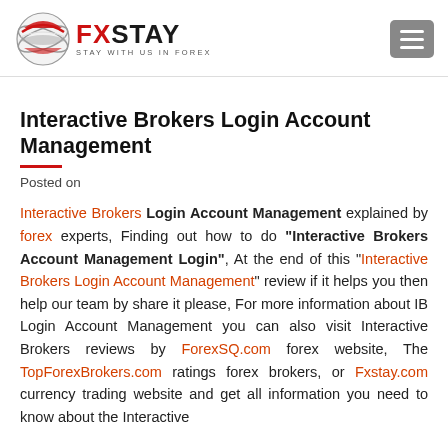[Figure (logo): FXStay logo with red globe icon and text 'FXSTAY STAY WITH US IN FOREX']
Interactive Brokers Login Account Management
Posted on
Interactive Brokers Login Account Management explained by forex experts, Finding out how to do "Interactive Brokers Account Management Login", At the end of this "Interactive Brokers Login Account Management" review if it helps you then help our team by share it please, For more information about IB Login Account Management you can also visit Interactive Brokers reviews by ForexSQ.com forex website, The TopForexBrokers.com ratings forex brokers, or Fxstay.com currency trading website and get all information you need to know about the Interactive